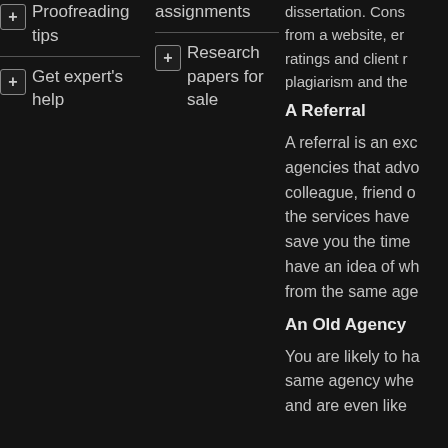Proofreading tips
Get expert's help
assignments
Research papers for sale
dissertation. Cons from a website, e ratings and client r plagiarism and the
A Referral
A referral is an exc agencies that advo colleague, friend c the services have save you the time have an idea of w from the same age
An Old Agency
You are likely to h same agency whe and are even like